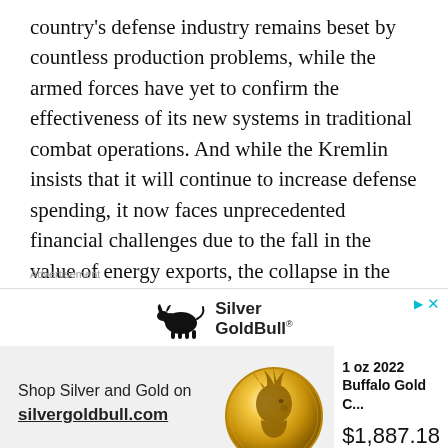country's defense industry remains beset by countless production problems, while the armed forces have yet to confirm the effectiveness of its new systems in traditional combat operations. And while the Kremlin insists that it will continue to increase defense spending, it now faces unprecedented financial challenges due to the fall in the value of energy exports, the collapse in the value of the Ruble, and increasingly severe Western sanctions.
Advertisement
[Figure (illustration): Silver Gold Bull advertisement showing the company logo with a bull silhouette, a gold Buffalo coin image, text 'Shop Silver and Gold on silvergoldbull.com', product '1 oz 2022 Buffalo Gold C...' priced at $1,887.18]